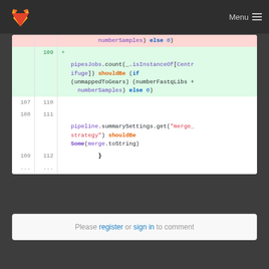GitLab Menu
[Figure (screenshot): Code diff view showing Scala test code with line numbers. Deleted line shows 'numberSamples) else 0)'. Added lines show 'pipesJobs.count(_.isInstanceOf[Centrifuge]) shouldBe (if (unmappedToGears) (numberFastqLibs + numberSamples) else 0)'. Normal lines show pipeline.summarySettings.get("merge_strategy") shouldBe Some(merge.toString) and closing brace.]
Please register or sign in to comment